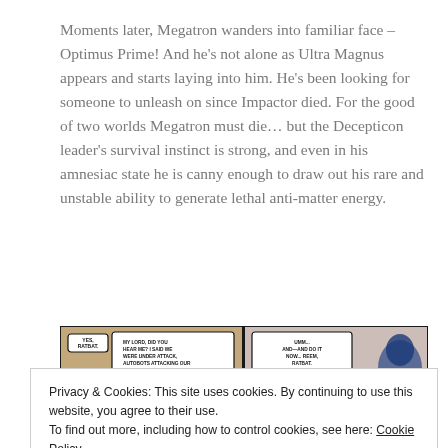Moments later, Megatron wanders into familiar face – Optimus Prime! And he's not alone as Ultra Magnus appears and starts laying into him. He's been looking for someone to unleash on since Impactor died. For the good of two worlds Megatron must die… but the Decepticon leader's survival instinct is strong, and even in his amnesiac state he is canny enough to draw out his rare and unstable ability to generate lethal anti-matter energy.
[Figure (illustration): Comic strip panel showing two scenes: left panel with small robot character and speech bubble reading 'MY LORD, DID YOU HEAR ME? I SAID WE WERE UNDER ATTACK. AUTOBOTS ATTACKING OUR FUEL STORE. SHOULD I...' with a small 'YES, RATBAT.' response bubble; right panel showing a blue robot character with speech bubble reading 'UMM... AND—AND DO IT NOW... REEM, RATBAT.']
Privacy & Cookies: This site uses cookies. By continuing to use this website, you agree to their use.
To find out more, including how to control cookies, see here: Cookie Policy
[Figure (illustration): Bottom comic strip panel showing two scenes partially visible at bottom of page: left panel with yellow/orange tones showing robot character with speech 'I... I... YES... YES –', right panel with dark tones showing robot characters with speech bubble 'AND ARE THERE ANY OTHER ORDERS... MEGATRON?']